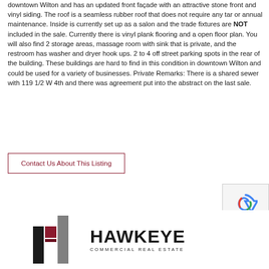downtown Wilton and has an updated front façade with an attractive stone front and vinyl siding. The roof is a seamless rubber roof that does not require any tar or annual maintenance. Inside is currently set up as a salon and the trade fixtures are NOT included in the sale. Currently there is vinyl plank flooring and a open floor plan. You will also find 2 storage areas, massage room with sink that is private, and the restroom has washer and dryer hook ups. 2 to 4 off street parking spots in the rear of the building. These buildings are hard to find in this condition in downtown Wilton and could be used for a variety of businesses. Private Remarks: There is a shared sewer with 119 1/2 W 4th and there was agreement put into the abstract on the last sale.
Contact Us About This Listing
[Figure (logo): Hawkeye Commercial Real Estate logo with geometric H icon in black, dark red, and gray colors, followed by bold HAWKEYE text and COMMERCIAL REAL ESTATE subtitle]